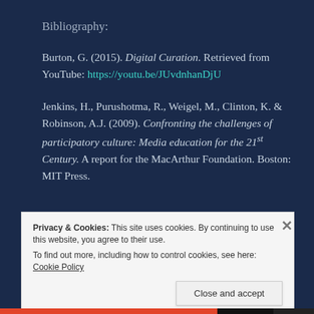Bibliography:
Burton, G. (2015). Digital Curation. Retrieved from YouTube: https://youtu.be/JUvdnhanDjU
Jenkins, H., Purushotma, R., Weigel, M., Clinton, K. & Robinson, A.J. (2009). Confronting the challenges of participatory culture: Media education for the 21st Century. A report for the MacArthur Foundation. Boston: MIT Press.
Privacy & Cookies: This site uses cookies. By continuing to use this website, you agree to their use. To find out more, including how to control cookies, see here: Cookie Policy
Close and accept